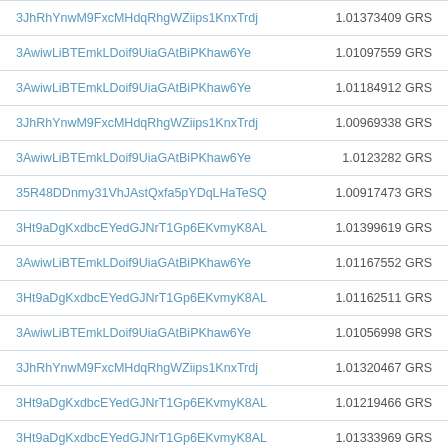| Address | Amount |
| --- | --- |
| 3JhRhYnwM9FxcMHdqRhgWZiips1KnxTrdj | 1.01373409 GRS |
| 3AwiwLiBTEmkLDoif9UiaGAtBiPKhaw6Ye | 1.01097559 GRS |
| 3AwiwLiBTEmkLDoif9UiaGAtBiPKhaw6Ye | 1.01184912 GRS |
| 3JhRhYnwM9FxcMHdqRhgWZiips1KnxTrdj | 1.00969338 GRS |
| 3AwiwLiBTEmkLDoif9UiaGAtBiPKhaw6Ye | 1.0123282 GRS |
| 35R48DDnmy31VhJAstQxfa5pYDqLHaTeSQ | 1.00917473 GRS |
| 3Ht9aDgKxdbcEYedGJNrT1Gp6EKvmyK8AL | 1.01399619 GRS |
| 3AwiwLiBTEmkLDoif9UiaGAtBiPKhaw6Ye | 1.01167552 GRS |
| 3Ht9aDgKxdbcEYedGJNrT1Gp6EKvmyK8AL | 1.01162511 GRS |
| 3AwiwLiBTEmkLDoif9UiaGAtBiPKhaw6Ye | 1.01056998 GRS |
| 3JhRhYnwM9FxcMHdqRhgWZiips1KnxTrdj | 1.01320467 GRS |
| 3Ht9aDgKxdbcEYedGJNrT1Gp6EKvmyK8AL | 1.01219466 GRS |
| 3Ht9aDgKxdbcEYedGJNrT1Gp6EKvmyK8AL | 1.01333969 GRS |
| 3Ht9aDgKxdbcEYedGJNrT1Gp6EKvmyK8AL | 1.01199834 GRS |
| 3JhRhYnwM9FxcMHdqRhgWZiips1KnxTrdj | 1.01002222 GRS |